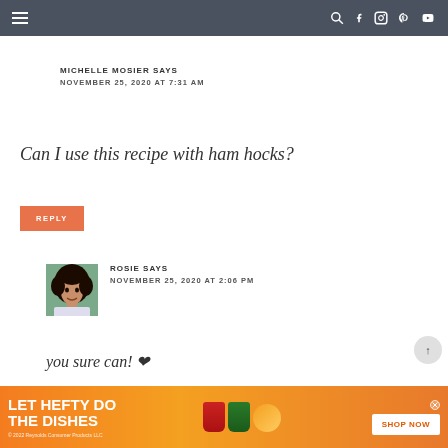Navigation bar with menu, search, Facebook, Instagram, Pinterest, YouTube icons
MICHELLE MOSIER SAYS
NOVEMBER 25, 2020 AT 7:31 AM
Can I use this recipe with ham hocks?
REPLY
[Figure (photo): Profile photo of Rosie, a woman with curly dark hair]
ROSIE SAYS
NOVEMBER 25, 2020 AT 2:06 PM
you sure can! ❤
[Figure (infographic): Advertisement: LET HEFTY DO THE DISHES - Reynolds Consumer Products LLC, SHOP NOW button, product images]